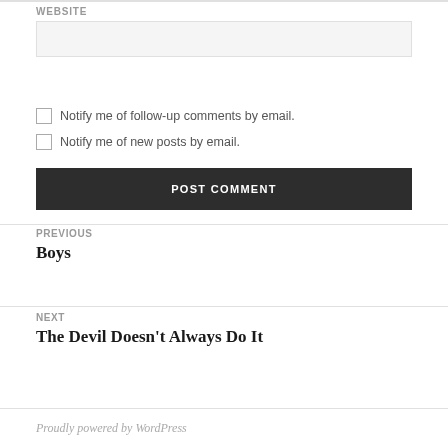WEBSITE
Notify me of follow-up comments by email.
Notify me of new posts by email.
POST COMMENT
PREVIOUS
Boys
NEXT
The Devil Doesn’t Always Do It
Proudly powered by WordPress